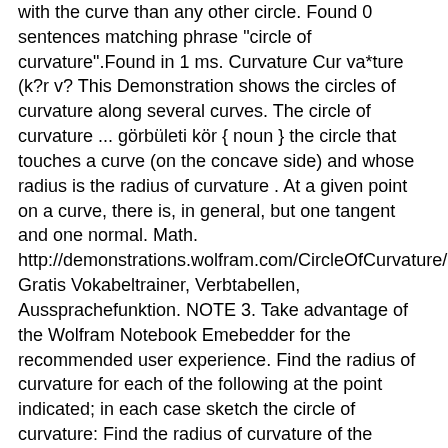with the curve than any other circle. Found 0 sentences matching phrase "circle of curvature".Found in 1 ms. Curvature Cur va*ture (k?r v? This Demonstration shows the circles of curvature along several curves. The circle of curvature ... görbületi kör { noun } the circle that touches a curve (on the concave side) and whose radius is the radius of curvature . At a given point on a curve, there is, in general, but one tangent and one normal. Math. http://demonstrations.wolfram.com/CircleOfCurvature/ Gratis Vokabeltrainer, Verbtabellen, Aussprachefunktion. NOTE 3. Take advantage of the Wolfram Notebook Emebedder for the recommended user experience. Find the radius of curvature for each of the following at the point indicated; in each case sketch the circle of curvature: Find the radius of curvature of the following curves at any point: 11. The circle of curvature (also osculating circle) at point P of a trajectory is a circle that describes or comes very close to the curve at this point. Substituting (1) and (2) in the formula for the radius of curvature, §8—10, equation [1], and simplifying, we obtain: